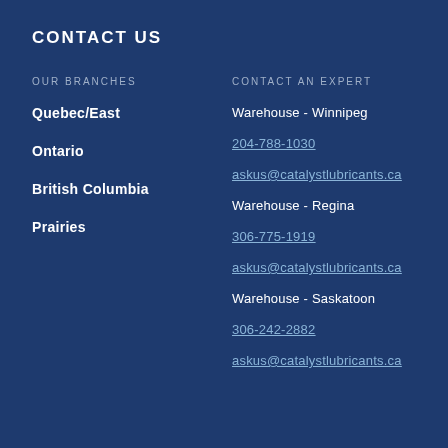CONTACT US
OUR BRANCHES
CONTACT AN EXPERT
Quebec/East
Warehouse - Winnipeg
Ontario
204-788-1030
British Columbia
askus@catalystlubricants.ca
Prairies
Warehouse - Regina
306-775-1919
askus@catalystlubricants.ca
Warehouse - Saskatoon
306-242-2882
askus@catalystlubricants.ca